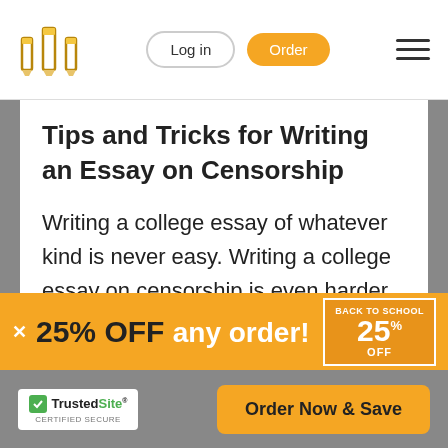Log in | Order
Tips and Tricks for Writing an Essay on Censorship
Writing a college essay of whatever kind is never easy. Writing a college essay on censorship is even harder for a beginner. Use our tips to write a good essay.
[Figure (screenshot): Promotional banner: 25% OFF any order! Back to School 25% OFF badge]
[Figure (logo): TrustedSite Certified Secure badge with green checkmark]
[Figure (other): Order Now & Save button in orange]